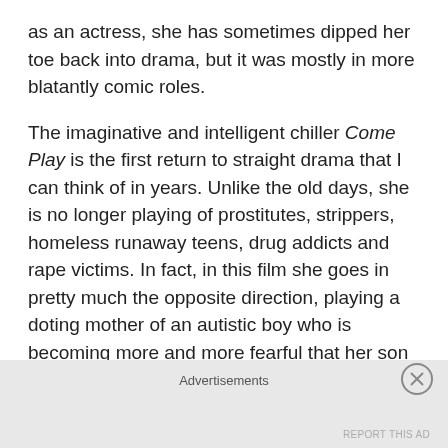as an actress, she has sometimes dipped her toe back into drama, but it was mostly in more blatantly comic roles.
The imaginative and intelligent chiller Come Play is the first return to straight drama that I can think of in years. Unlike the old days, she is no longer playing of prostitutes, strippers, homeless runaway teens, drug addicts and rape victims. In fact, in this film she goes in pretty much the opposite direction, playing a doting mother of an autistic boy who is becoming more and more fearful that her son is being targeted by a mysterious monster.
She's no longer the victim. Now she's the protector. That's her new wheelhouse.
Advertisements